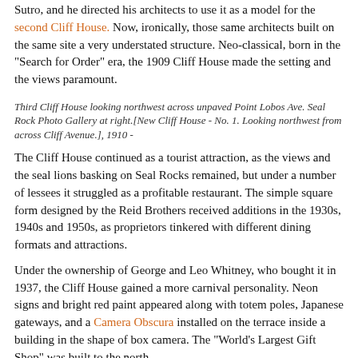Sutro, and he directed his architects to use it as a model for the second Cliff House. Now, ironically, those same architects built on the same site a very understated structure. Neo-classical, born in the "Search for Order" era, the 1909 Cliff House made the setting and the views paramount.
Third Cliff House looking northwest across unpaved Point Lobos Ave. Seal Rock Photo Gallery at right.[New Cliff House - No. 1. Looking northwest from across Cliff Avenue.], 1910 -
The Cliff House continued as a tourist attraction, as the views and the seal lions basking on Seal Rocks remained, but under a number of lessees it struggled as a profitable restaurant. The simple square form designed by the Reid Brothers received additions in the 1930s, 1940s and 1950s, as proprietors tinkered with different dining formats and attractions.
Under the ownership of George and Leo Whitney, who bought it in 1937, the Cliff House gained a more carnival personality. Neon signs and bright red paint appeared along with totem poles, Japanese gateways, and a Camera Obscura installed on the terrace inside a building in the shape of box camera. The "World's Largest Gift Shop" was built to the north.
Commercial shot from Sutro Heights of Whitney's Cliff House, Seal Rocks, Camera Obscura,